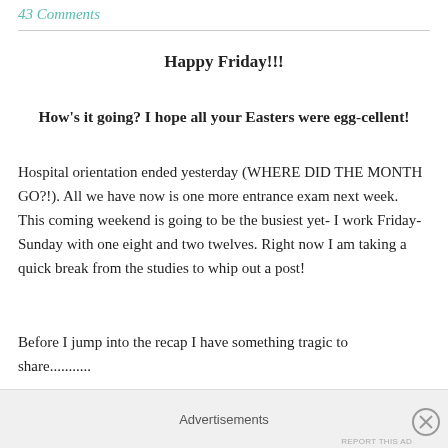43 Comments
Happy Friday!!!
How's it going? I hope all your Easters were egg-cellent!
Hospital orientation ended yesterday (WHERE DID THE MONTH GO?!). All we have now is one more entrance exam next week. This coming weekend is going to be the busiest yet- I work Friday-Sunday with one eight and two twelves. Right now I am taking a quick break from the studies to whip out a post!
Before I jump into the recap I have something tragic to share...........
Advertisements